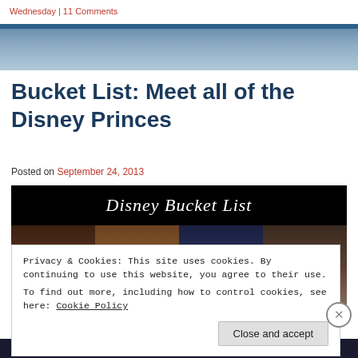Wednesday | 11 Comments
Bucket List: Meet all of the Disney Princes
Posted on September 24, 2013
[Figure (photo): Disney Bucket List banner image with photos of Disney Princes]
Privacy & Cookies: This site uses cookies. By continuing to use this website, you agree to their use.
To find out more, including how to control cookies, see here: Cookie Policy
Close and accept